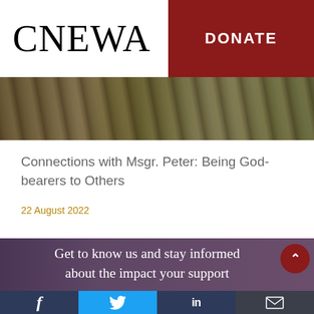CNEWA
DONATE
[Figure (photo): Outdoor photo strip showing dry ground and grass landscape]
Connections with Msgr. Peter: Being God-bearers to Others
22 August 2022
Get to know us and stay informed about the impact your support
Facebook | Twitter | LinkedIn | Email